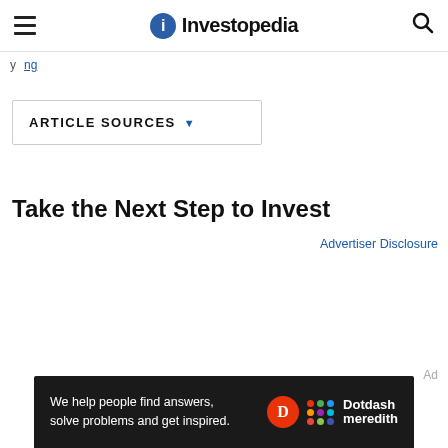Investopedia
ARTICLE SOURCES ▼
Take the Next Step to Invest
Advertiser Disclosure
Ad
We help people find answers, solve problems and get inspired. Dotdash meredith